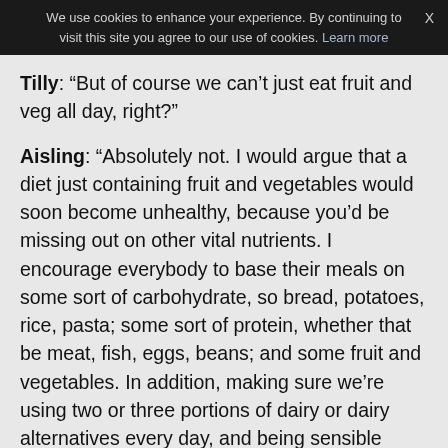We use cookies to enhance your experience. By continuing to visit this site you agree to our use of cookies. Learn more  X
Tilly: “But of course we can’t just eat fruit and veg all day, right?”
Aisling: “Absolutely not. I would argue that a diet just containing fruit and vegetables would soon become unhealthy, because you’d be missing out on other vital nutrients. I encourage everybody to base their meals on some sort of carbohydrate, so bread, potatoes, rice, pasta; some sort of protein, whether that be meat, fish, eggs, beans; and some fruit and vegetables. In addition, making sure we’re using two or three portions of dairy or dairy alternatives every day, and being sensible about the number of high energy, high sugar and high fat foods we include in our diet.”